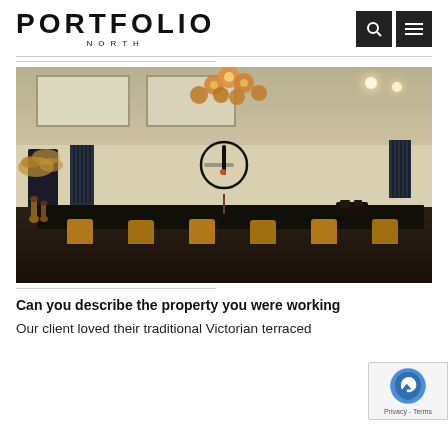PORTFOLIO NORTH
[Figure (photo): Interior photo of a modern dining room with a dark table, amber velvet chairs, large circle wall clock, vertical radiators, dried pampas grass, a cluster chandelier with amber glass globes, and skylights in the ceiling.]
Can you describe the property you were working
Our client loved their traditional Victorian terraced